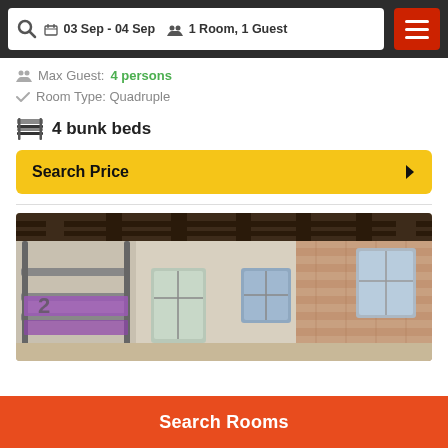03 Sep - 04 Sep  1 Room, 1 Guest
Max Guest: 4 persons
Room Type: Quadruple
4 bunk beds
Search Price
[Figure (photo): Interior photo of a hostel dormitory room with bunk beds, wooden beam ceiling, pendant lights, and windows]
Search Rooms